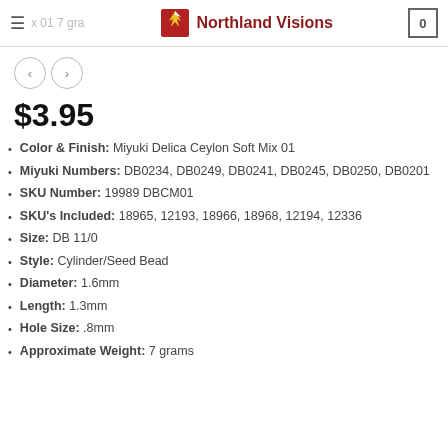Northland Visions
$3.95
Color & Finish: Miyuki Delica Ceylon Soft Mix 01
Miyuki Numbers: DB0234, DB0249, DB0241, DB0245, DB0250, DB0201
SKU Number: 19989 DBCM01
SKU's Included: 18965, 12193, 18966, 18968, 12194, 12336
Size: DB 11/0
Style: Cylinder/Seed Bead
Diameter: 1.6mm
Length: 1.3mm
Hole Size: .8mm
Approximate Weight: 7 grams